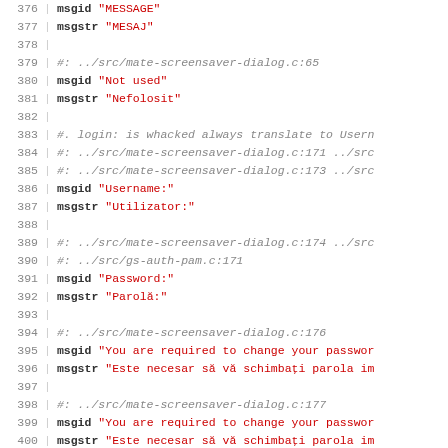376  msgid "MESSAGE"
377  msgstr "MESAJ"
378
379  #: ../src/mate-screensaver-dialog.c:65
380  msgid "Not used"
381  msgstr "Nefolosit"
382
383  #. login: is whacked always translate to Usern
384  #: ../src/mate-screensaver-dialog.c:171 ../src
385  #: ../src/mate-screensaver-dialog.c:173 ../src
386  msgid "Username:"
387  msgstr "Utilizator:"
388
389  #: ../src/mate-screensaver-dialog.c:174 ../src
390  #: ../src/gs-auth-pam.c:171
391  msgid "Password:"
392  msgstr "Parolă:"
393
394  #: ../src/mate-screensaver-dialog.c:176
395  msgid "You are required to change your passwor
396  msgstr "Este necesar să vă schimbați parola im
397
398  #: ../src/mate-screensaver-dialog.c:177
399  msgid "You are required to change your passwor
400  msgstr "Este necesar să vă schimbați parola im
401
402  #: ../src/mate-screensaver-dialog.c:178
403  msgid "Your account has expired; please contac
404  msgstr "Contul dumneavoastră a expirat, contac
405